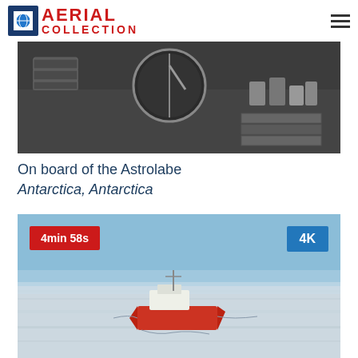AERIAL COLLECTION
[Figure (photo): Close-up photo of ship navigation controls and equipment on board the Astrolabe — dials, levers, boxes of instruments on a dark metal console]
On board of the Astrolabe
Antarctica, Antarctica
[Figure (photo): Aerial photo of the research vessel Astrolabe breaking through Antarctic sea ice, surrounded by white frozen ocean under a clear blue sky. Badge showing 4min 58s duration and 4K quality.]